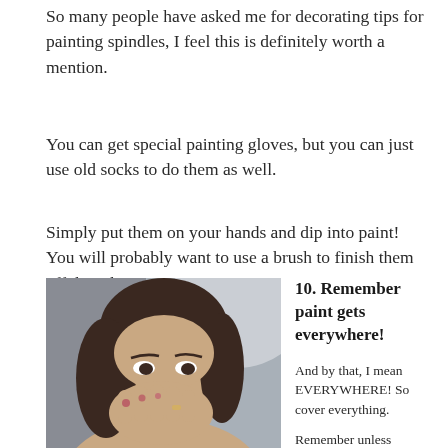So many people have asked me for decorating tips for painting spindles, I feel this is definitely worth a mention.
You can get special painting gloves, but you can just use old socks to do them as well.
Simply put them on your hands and dip into paint! You will probably want to use a brush to finish them off though.
[Figure (photo): Woman covering her face with her hand, with paint on her fingers, indoor selfie]
10. Remember paint gets everywhere!
And by that, I mean EVERYWHERE! So cover everything.
Remember unless